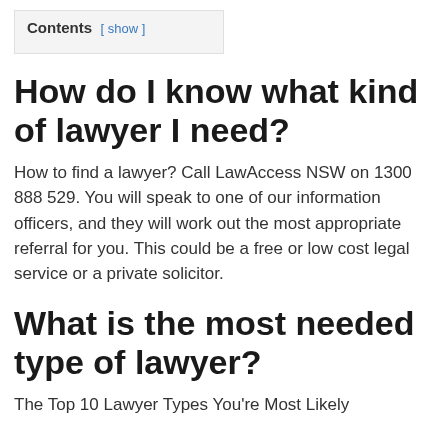Contents [ show ]
How do I know what kind of lawyer I need?
How to find a lawyer? Call LawAccess NSW on 1300 888 529. You will speak to one of our information officers, and they will work out the most appropriate referral for you. This could be a free or low cost legal service or a private solicitor.
What is the most needed type of lawyer?
The Top 10 Lawyer Types You're Most Likely